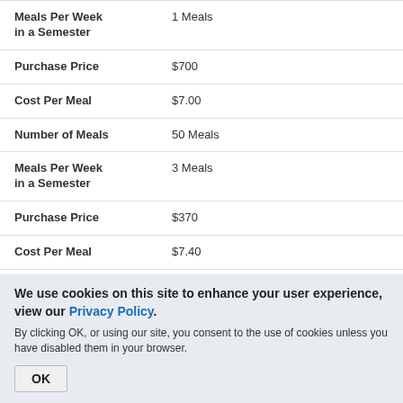| Label | Value |
| --- | --- |
| Meals Per Week in a Semester | 1 Meals |
| Purchase Price | $700 |
| Cost Per Meal | $7.00 |
| Number of Meals | 50 Meals |
| Meals Per Week in a Semester | 3 Meals |
| Purchase Price | $370 |
| Cost Per Meal | $7.40 |
| Number of Meals | 25 Meals |
We use cookies on this site to enhance your user experience, view our Privacy Policy. By clicking OK, or using our site, you consent to the use of cookies unless you have disabled them in your browser.